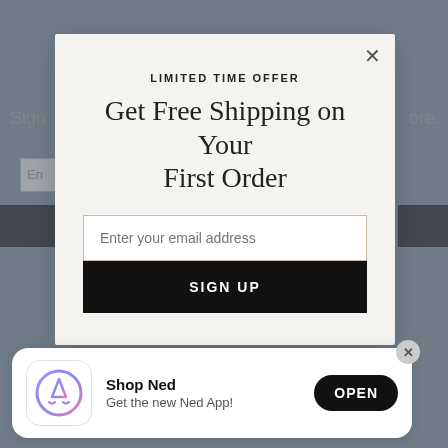[Figure (screenshot): Background website content partially visible behind modal overlay showing sign-up page elements]
LIMITED TIME OFFER
Get Free Shipping on Your First Order
Enter your email address
SIGN UP
Shop Ned
Get the new Ned App!
OPEN